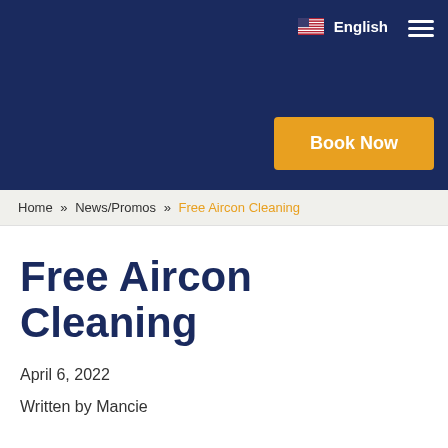English  ☰
[Figure (screenshot): Book Now button in gold/amber color on dark navy header background]
Home » News/Promos » Free Aircon Cleaning
Free Aircon Cleaning
April 6, 2022
Written by Mancie